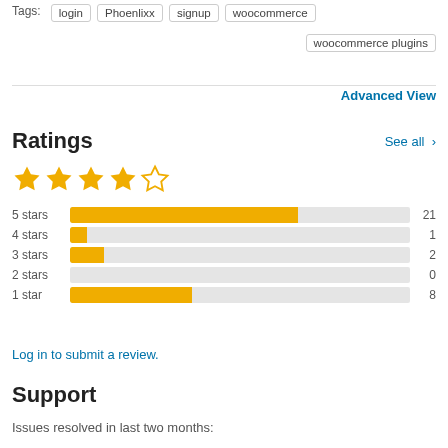Tags: login  Phoenlixx  signup  woocommerce  woocommerce plugins
Advanced View
Ratings
See all >
[Figure (bar-chart): Ratings breakdown]
Log in to submit a review.
Support
Issues resolved in last two months: